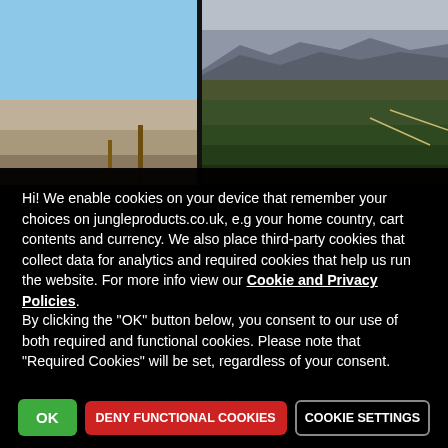[Figure (photo): Two landscape photographs side by side. Left photo shows a minimalist desert scene with pale blue sky and sparse brown elements (poles/posts). Right photo shows an aerial or wide view of flat desert terrain with distant mesa/plateau mountains under a gray sky, with green-brown scrubland in the foreground.]
Hi! We enable cookies on your device that remember your choices on jungleproducts.co.uk, e.g your home country, cart contents and currency. We also place third-party cookies that collect data for analytics and required cookies that help us run the website. For more info view our Cookie and Privacy Policies.
By clicking the "OK" button below, you consent to our use of both required and functional cookies. Please note that "Required Cookies" will be set, regardless of your consent.